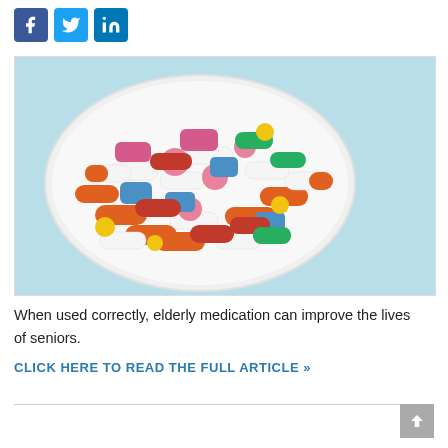[Figure (other): Social media share icons: Facebook (blue square with f), Twitter (blue square with bird), LinkedIn (blue square with in)]
[Figure (photo): Overhead view of a white plate filled with various colorful pills and capsules (orange, blue, pink, white, green, red, yellow) on a light blue background]
When used correctly, elderly medication can improve the lives of seniors.
CLICK HERE TO READ THE FULL ARTICLE »